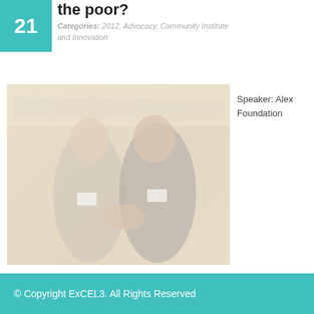the poor?
Categories: 2012, Advocacy, Community Institute and Innovation
[Figure (photo): Two men in suits shaking hands at an event. A banner reading 'acuity of Social Scienc' is visible in the background. Both men are wearing name badges.]
Speaker: Alex Foundation
© Copyright ExCEL3. All Rights Reserved